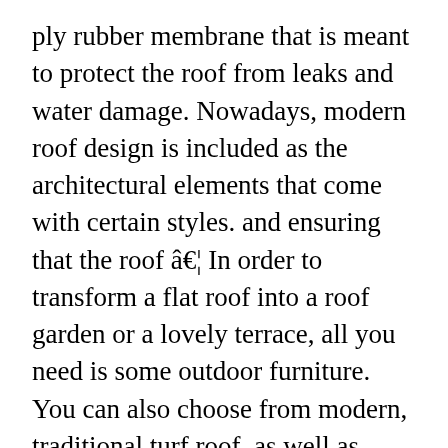ply rubber membrane that is meant to protect the roof from leaks and water damage. Nowadays, modern roof design is included as the architectural elements that come with certain styles. and ensuring that the roof â€¦ In order to transform a flat roof into a roof garden or a lovely terrace, all you need is some outdoor furniture. You can also choose from modern, traditional turf roof, as well as from plant fiber turf roof, and whether turf roof is more than 5 years. From famous golf properties seen on TV, to daily-fee courses throughout the eastern US, Modern Turf continues to be a leader in golf turf consulting. Many cities like Portland, OR and Bellingham, WA have embraced environmentally-friendly aspects of the